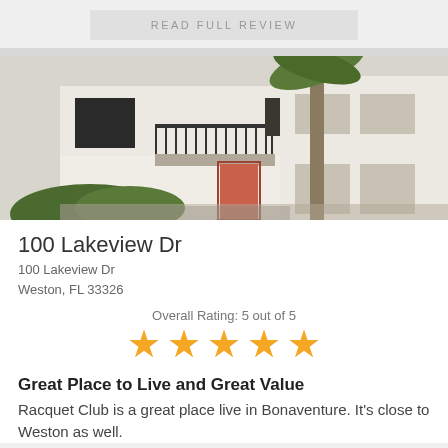READ FULL REVIEW
[Figure (photo): Exterior photo of a two-story white apartment building with a balcony, black railing, orange/red front door, and palm trees.]
100 Lakeview Dr
100 Lakeview Dr
Weston, FL 33326
Overall Rating: 5 out of 5
[Figure (infographic): Five filled gold star icons representing a 5 out of 5 rating.]
Great Place to Live and Great Value
Racquet Club is a great place live in Bonaventure. It's close to Weston as well.